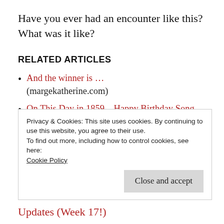Have you ever had an encounter like this? What was it like?
RELATED ARTICLES
And the winner is … (margekatherine.com)
On This Day in 1859 – Happy Birthday Song (yarntree.typepad.com)
In Pursuit of Joy (pacificmelody.wordpress.com)
Privacy & Cookies: This site uses cookies. By continuing to use this website, you agree to their use.
To find out more, including how to control cookies, see here: Cookie Policy
Close and accept
Updates (Week 17!)